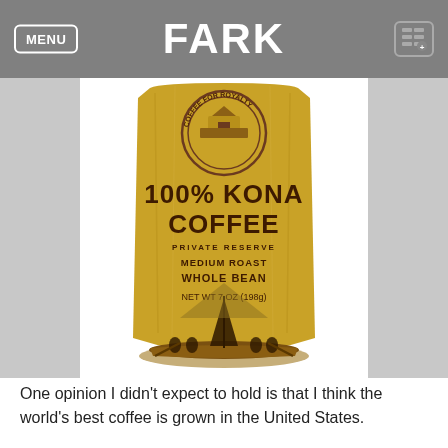FARK
[Figure (photo): Gold bag of 100% Kona Coffee, Private Reserve, Medium Roast, Whole Bean, Net Wt 7 oz (198g), with a circular Coffee for Royalty seal at top and an illustration of people in a canoe at the bottom of the bag.]
One opinion I didn't expect to hold is that I think the world's best coffee is grown in the United States.